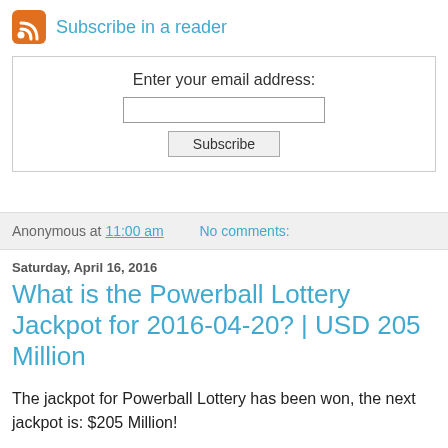Subscribe in a reader
Enter your email address: Subscribe
Anonymous at 11:00 am   No comments:
Saturday, April 16, 2016
What is the Powerball Lottery Jackpot for 2016-04-20? | USD 205 Million
The jackpot for Powerball Lottery has been won, the next jackpot is: $205 Million!
To play the powerball lottery online